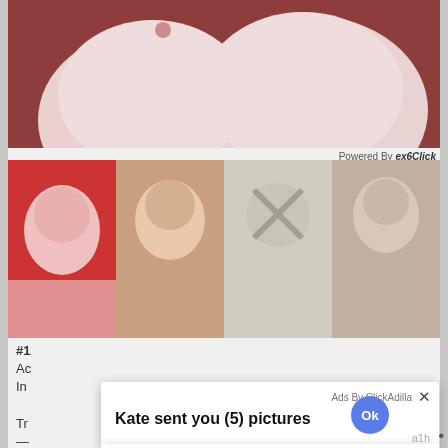[Figure (photo): Cropped adult content photo at top of page]
Powered By exoClick
[Figure (photo): Strip of four thumbnail images below the top photo]
[Figure (screenshot): Popup ad overlay with title 'Kate sent you (5) pictures', 'Click OK to display the photo', small Ok button top right, large blue Ok circle button in center, 'Ads By ClickAdilla' and X close button, 'a1h' label bottom right]
#1
Ad
In
Tr
—